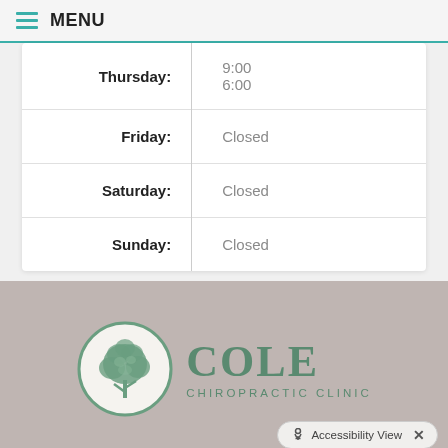MENU
| Day | Hours |
| --- | --- |
| Thursday: | 9:00
6:00 |
| Friday: | Closed |
| Saturday: | Closed |
| Sunday: | Closed |
[Figure (logo): Cole Chiropractic Clinic logo with a green tree inside a circle and the text COLE CHIROPRACTIC CLINIC]
Accessibility View